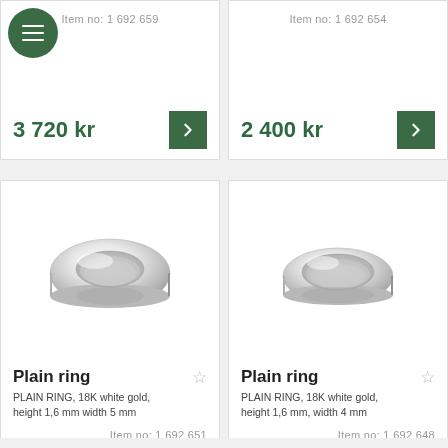Item no: 1 692 659
3 720 kr
Item no: 1 692 654
2 400 kr
[Figure (photo): Plain ring, 18K white gold wedding band, viewed from slight angle showing the curved profile]
Plain ring
PLAIN RING, 18K white gold, height 1,6 mm width 5 mm
Item no: 1 692 651
6 000 kr
[Figure (photo): Plain ring, 18K white gold wedding band, slightly narrower width, viewed from slight angle]
Plain ring
PLAIN RING, 18K white gold, height 1,6 mm, width 4 mm
Item no: 1 692 648
4 440 kr